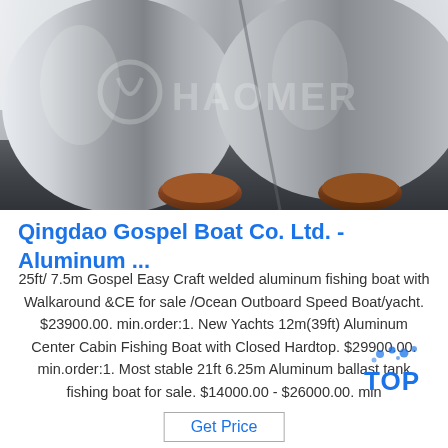[Figure (photo): Photo of shiny aluminum rolls/cylinders with a watermark logo reading HAOMER in the background]
Qingdao Gospel Boat Co. Ltd. - Aluminum ...
25ft/ 7.5m Gospel Easy Craft welded aluminum fishing boat with Walkaround &CE for sale /Ocean Outboard Speed Boat/yacht. $23900.00. min.order:1. New Yachts 12m(39ft) Aluminum Center Cabin Fishing Boat with Closed Hardtop. $29900.00. min.order:1. Most stable 21ft 6.25m Aluminum ballast tank fishing boat for sale. $14000.00 - $26000.00. min
[Figure (logo): TOP badge with blue dots/droplets above the text TOP in bold blue letters]